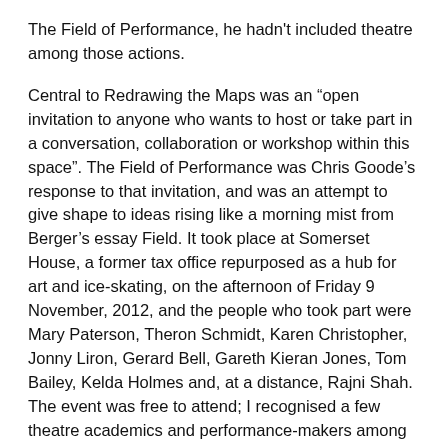The Field of Performance, he hadn't included theatre among those actions.
Central to Redrawing the Maps was an “open invitation to anyone who wants to host or take part in a conversation, collaboration or workshop within this space”. The Field of Performance was Chris Goode’s response to that invitation, and was an attempt to give shape to ideas rising like a morning mist from Berger’s essay Field. It took place at Somerset House, a former tax office repurposed as a hub for art and ice-skating, on the afternoon of Friday 9 November, 2012, and the people who took part were Mary Paterson, Theron Schmidt, Karen Christopher, Jonny Liron, Gerard Bell, Gareth Kieran Jones, Tom Bailey, Kelda Holmes and, at a distance, Rajni Shah. The event was free to attend; I recognised a few theatre academics and performance-makers among the audience. I was there as a kind of double agent: mostly in an audience capacity, but also as critical writer in Chris’ theatre company (although back then we called it critic-in-residence, and we’re due another name change any day now). It’s fairly typical of my working relationship with Chris that I’m only getting round to reflecting publicly on that afternoon now, almost five years later, even though it’s been a model for the kind of rooms the company